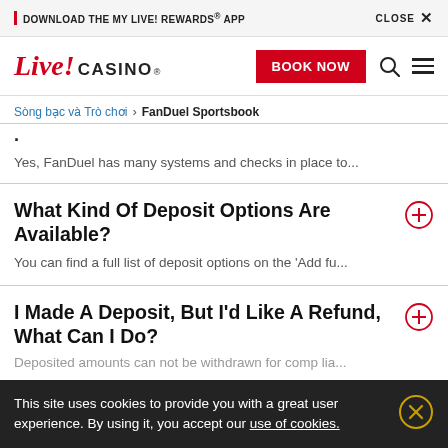DOWNLOAD THE MY LIVE! REWARDS® APP   CLOSE X
[Figure (logo): Live! Casino logo with red italic text and BOOK NOW button, search icon, hamburger menu]
Sòng bạc và Trò chơi > FanDuel Sportsbook
Yes, FanDuel has many systems and checks in place to...
What Kind Of Deposit Options Are Available?
You can find a full list of deposit options on the 'Add fu...
I Made A Deposit, But I'd Like A Refund, What Can I Do?
Deposited amounts can not be withdrawn for comp lia...
This site uses cookies to provide you with a great user experience. By using it, you accept our use of cookies.